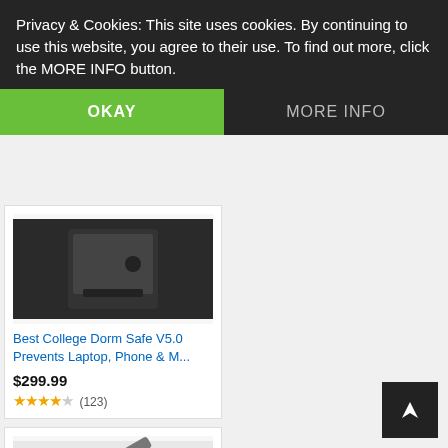Privacy & Cookies: This site uses cookies. By continuing to use this website, you agree to their use. To find out more, click the MORE INFO button.
OKAY
MORE INFO
Best College Dorm Safe V5.0 Prevents Laptop, Phone & M...
$299.99
★★★★☆ (123)
LED Desk Lamp, Drevet Desk Light with 1 USB Charging ...
$23.79 $27.99 ✓prime
★★★★★ (3231)
TESSAN Power Strip Tower Extension Cord with Multiple ...
$27.99 $29.99 ✓prime
Dezin Electric Hot Pot, Ra... Noodles Cooker, Stainless...
$32.99 $45.99 ✓prime